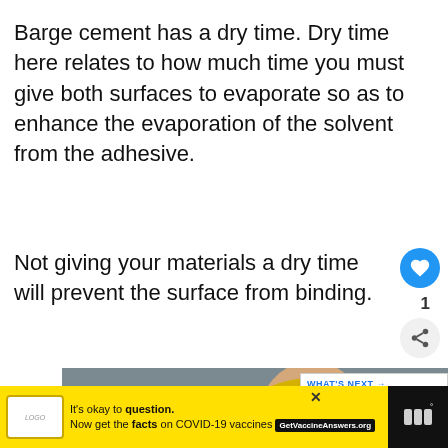Barge cement has a dry time. Dry time here relates to how much time you must give both surfaces to evaporate so as to enhance the evaporation of the solvent from the adhesive.
Not giving your materials a dry time will prevent the surface from binding.
[Figure (photo): Worker wearing yellow hard hat and safety glasses, with dark banner text reading 'UP TO YOU']
[Figure (infographic): WHAT'S NEXT arrow label with thumbnail of Contact Cement product and text 'Contact Cement vs...']
[Figure (infographic): Advertisement bar: yellow background with logo, text 'It’s okay to question. Now get the facts on COVID-19 vaccines GetVaccineAnswers.org']